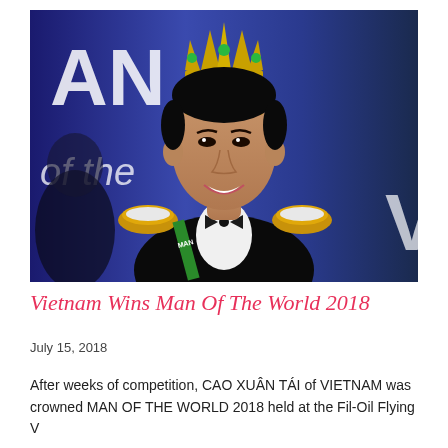[Figure (photo): A young Asian man wearing a decorative crown and an ornate pageant costume (black sequined jacket with gold and white epaulettes, white shirt, bow tie, and a green sash) smiling at the camera. The background shows a stage with blue lighting and large white letters partially visible.]
Vietnam Wins Man Of The World 2018
July 15, 2018
After weeks of competition, CAO XUÂN TÁI of VIETNAM was crowned MAN OF THE WORLD 2018 held at the Fil-Oil Flying V